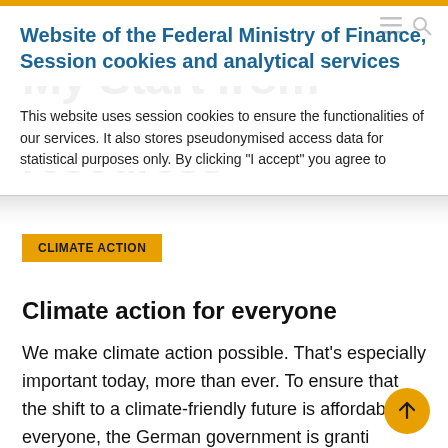Website of the Federal Ministry of Finance, Session cookies and analytical services
This website uses session cookies to ensure the functionalities of our services. It also stores pseudonymised access data for statistical purposes only. By clicking “I accept” you agree to
CLIMATE ACTION
Climate action for everyone
We make climate action possible. That’s especially important today, more than ever. To ensure that the shift to a climate-friendly future is affordable for everyone, the German government is granting people relief in other areas.